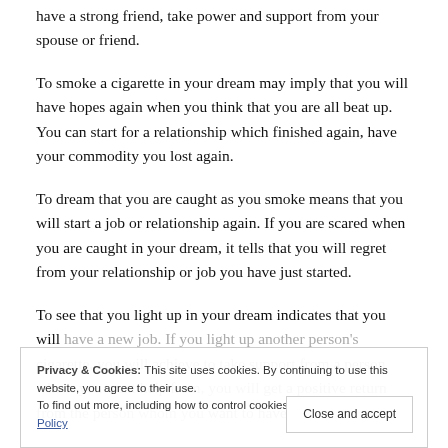have a strong friend, take power and support from your spouse or friend.
To smoke a cigarette in your dream may imply that you will have hopes again when you think that you are all beat up. You can start for a relationship which finished again, have your commodity you lost again.
To dream that you are caught as you smoke means that you will start a job or relationship again. If you are scared when you are caught in your dream, it tells that you will regret from your relationship or job you have just started.
To see that you light up in your dream indicates that you will have a new job. If you light up another person's cigarette, you will achieve to take support from a person whom you want help from, you will get a positive return from the person whom you want to have a relationship with.
Privacy & Cookies: This site uses cookies. By continuing to use this website, you agree to their use. To find out more, including how to control cookies, see here: Cookie Policy